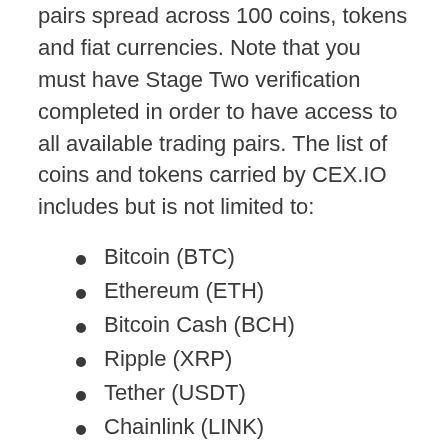pairs spread across 100 coins, tokens and fiat currencies. Note that you must have Stage Two verification completed in order to have access to all available trading pairs. The list of coins and tokens carried by CEX.IO includes but is not limited to:
Bitcoin (BTC)
Ethereum (ETH)
Bitcoin Cash (BCH)
Ripple (XRP)
Tether (USDT)
Chainlink (LINK)
Cardano (ADA)
Litecoin (LTC)
Tezos (XTZ)
Cosmos (ATOM)